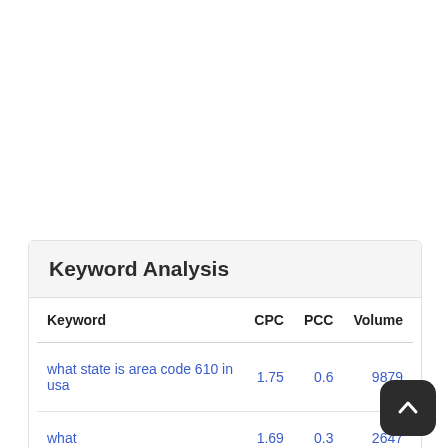| Keyword | CPC | PCC | Volume |
| --- | --- | --- | --- |
| what state is area code 610 in usa | 1.75 | 0.6 | 9879 |
| what | 1.69 | 0.3 | 2647 |
| state | 1.09 | 0.5 | 6871 |
| is | 0.79 | 0.7 | 5505 |
| area | 0.93 | 1 | 30? |
| code | 1.45 | 0.3 | 20? |